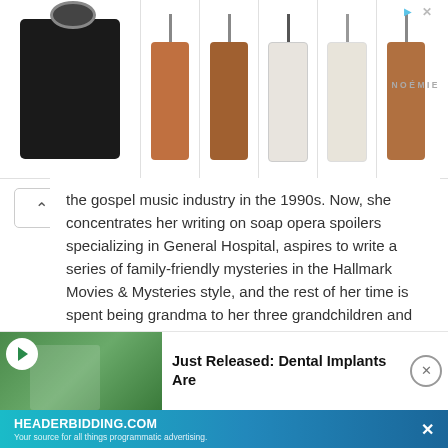[Figure (screenshot): Top banner advertisement showing leather phone cases and accessories on white background with NOEMIE brand logo. Six product images in a grid row.]
the gospel music industry in the 1990s. Now, she concentrates her writing on soap opera spoilers specializing in General Hospital, aspires to write a series of family-friendly mysteries in the Hallmark Movies & Mysteries style, and the rest of her time is spent being grandma to her three grandchildren and cat mama to Mollie & Missie. She is married to her childhood sweetheart whom she rediscovered after 30 years apart.
[Figure (screenshot): Bottom advertisement banner: left side shows a photo of a woman outdoors with a green/nature background and a circular icon; right side reads 'Just Released: Dental Implants Are' in bold text with a close (X) button.]
[Figure (screenshot): HEADERBIDDING.COM advertisement bar in blue/teal gradient reading 'HEADERBIDDING.COM - Your source for all things programmatic advertising.']